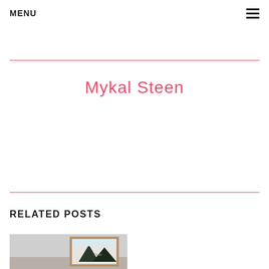MENU
Mykal Steen
RELATED POSTS
[Figure (photo): Thumbnail image of an artwork in a wooden frame, partially visible at the bottom of the page]